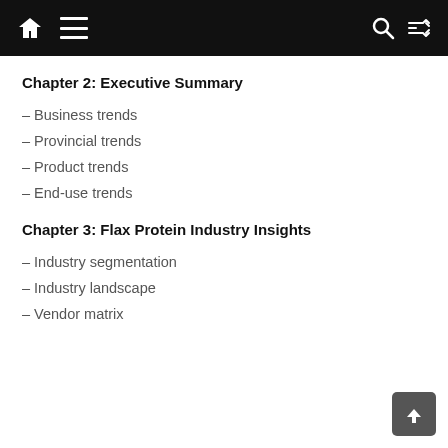Navigation bar with home, menu, search, and shuffle icons
Chapter 2: Executive Summary
– Business trends
– Provincial trends
– Product trends
– End-use trends
Chapter 3: Flax Protein Industry Insights
– Industry segmentation
– Industry landscape
– Vendor matrix